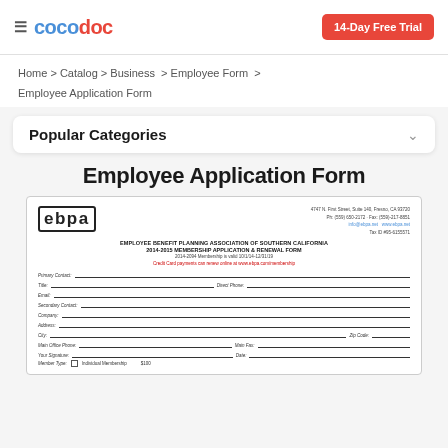cocodoc  14-Day Free Trial
Home > Catalog > Business > Employee Form > Employee Application Form
Popular Categories
Employee Application Form
[Figure (other): Preview of an EBPA Employee Benefit Planning Association of Southern California 2014-2015 Membership Application & Renewal Form document showing fields for Primary Contact, Title, Direct Phone, Email, Secondary Contact, Company, Address, City, Zip Code, Main Office Phone, Main Fax, Your Signature, Date, and Member Type checkbox.]